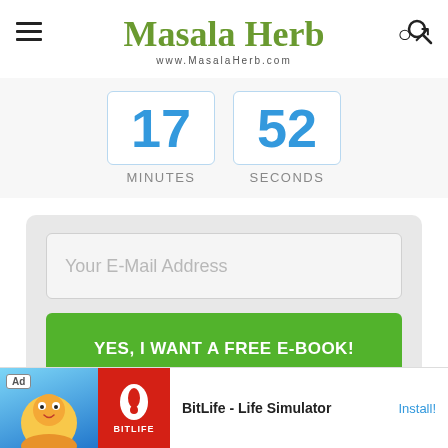[Figure (screenshot): Masala Herb website header with hamburger menu icon on left, stylized logo with herbs/spices illustrations in center, search icon on right, and www.MasalaHerb.com URL below logo]
[Figure (screenshot): Countdown timer showing 17 MINUTES and 52 SECONDS in blue numbers on white boxes with light blue borders]
[Figure (screenshot): Email opt-in form with gray background, text input field labeled 'Your E-Mail Address', and green button labeled 'YES, I WANT A FREE E-BOOK!']
The topp
[Figure (screenshot): Advertisement banner for BitLife - Life Simulator app with Ad badge, cartoon character on blue background, BitLife logo on red background, app name, and Install! button]